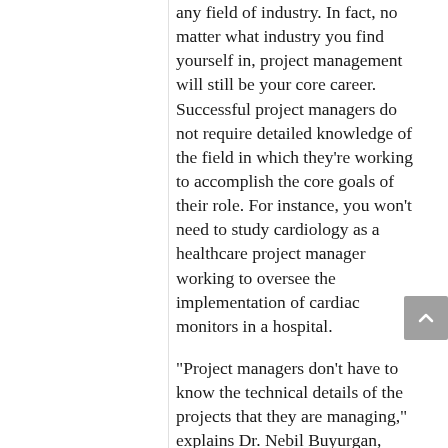any field of industry. In fact, no matter what industry you find yourself in, project management will still be your core career. Successful project managers do not require detailed knowledge of the field in which they're working to accomplish the core goals of their role. For instance, you won't need to study cardiology as a healthcare project manager working to oversee the implementation of cardiac monitors in a hospital.
"Project managers don't have to know the technical details of the projects that they are managing," explains Dr. Nebil Buyurgan, director of the Project Management Master's Program at Missouri State University. "They are essentially enablers and requirement-gatherers in many cases."